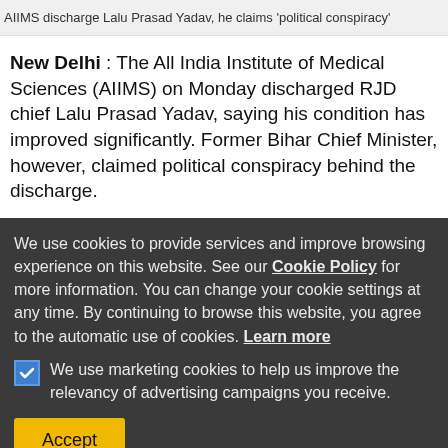AIIMS discharge Lalu Prasad Yadav, he claims 'political conspiracy'
New Delhi : The All India Institute of Medical Sciences (AIIMS) on Monday discharged RJD chief Lalu Prasad Yadav, saying his condition has improved significantly. Former Bihar Chief Minister, however, claimed political conspiracy behind the discharge.
We use cookies to provide services and improve browsing experience on this website. See our Cookie Policy for more information. You can change your cookie settings at any time. By continuing to browse this website, you agree to the automatic use of cookies. Learn more
We use marketing cookies to help us improve the relevancy of advertising campaigns you receive.
Accept